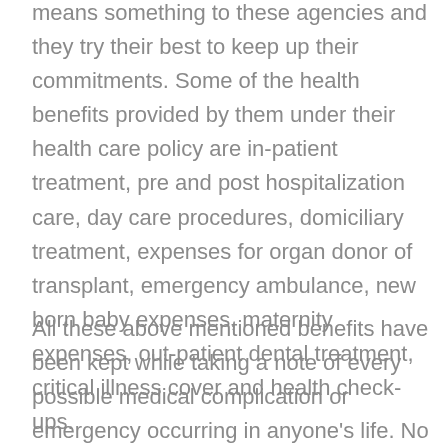means something to these agencies and they try their best to keep up their commitments. Some of the health benefits provided by them under their health care policy are in-patient treatment, pre and post hospitalization care, day care procedures, domiciliary treatment, expenses for organ donor of transplant, emergency ambulance, new born baby expenses, maternity expenses, out-patient dental treatment, critical illness cover and health check-ups.
All these above mentioned benefits have been kept while taking a note of every possible medical complication or emergency occurring in anyone's life. No one knows that anything can happen at any time. And it is the health insurance that brings relief to the mismanagement that may happen due to panic. It is quite natural that certain untoward accidents do not let the person to think correct and take immediate decisions. The medical experts from